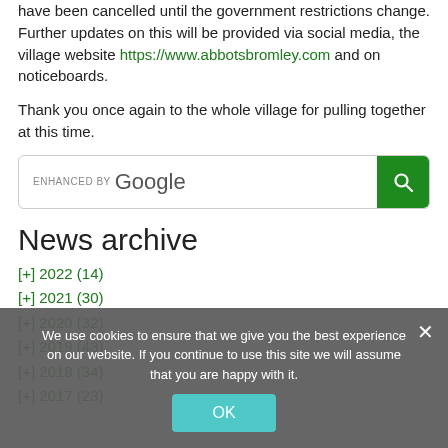have been cancelled until the government restrictions change. Further updates on this will be provided via social media, the village website https://www.abbotsbromley.com and on noticeboards.
Thank you once again to the whole village for pulling together at this time.
[Figure (other): Google search box with green search button]
News archive
[+] 2022 (14)
[+] 2021 (30)
[+] 2020 (32)
[+] 2019 (43)
[+] 2018 (34)
[+] 2017 (23)
We use cookies to ensure that we give you the best experience on our website. If you continue to use this site we will assume that you are happy with it. OK